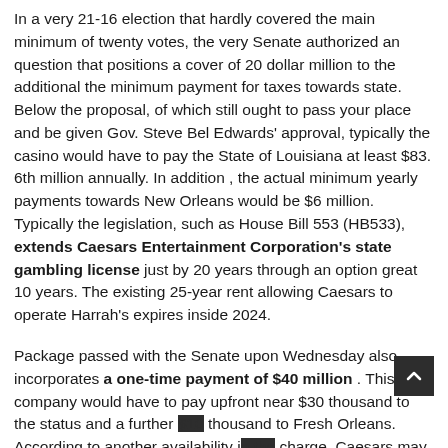In a very 21-16 election that hardly covered the main minimum of twenty votes, the very Senate authorized an question that positions a cover of 20 dollar million to the additional the minimum payment for taxes towards state. Below the proposal, of which still ought to pass your place and be given Gov. Steve Bel Edwards' approval, typically the casino would have to pay the State of Louisiana at least $83. 6th million annually. In addition , the actual minimum yearly payments towards New Orleans would be $6 million. Typically the legislation, such as House Bill 553 (HB533), extends Caesars Entertainment Corporation's state gambling license just by 20 years through an option great 10 years. The existing 25-year rent allowing Caesars to operate Harrah's expires inside 2024.
Package passed with the Senate upon Wednesday also incorporates a one-time payment of $40 million . This company would have to pay upfront near $30 thousand to the status and a further $10 thousand to Fresh Orleans. According to another availability in the charge, Caesars may need to double that contribution if that decides